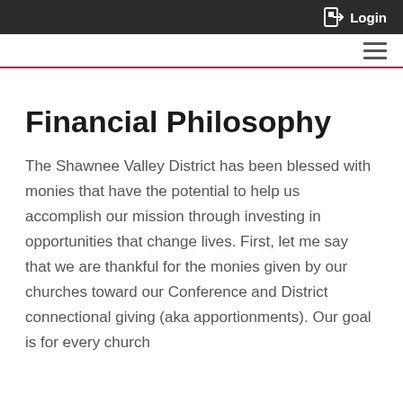Login
Financial Philosophy
The Shawnee Valley District has been blessed with monies that have the potential to help us accomplish our mission through investing in opportunities that change lives. First, let me say that we are thankful for the monies given by our churches toward our Conference and District connectional giving (aka apportionments). Our goal is for every church